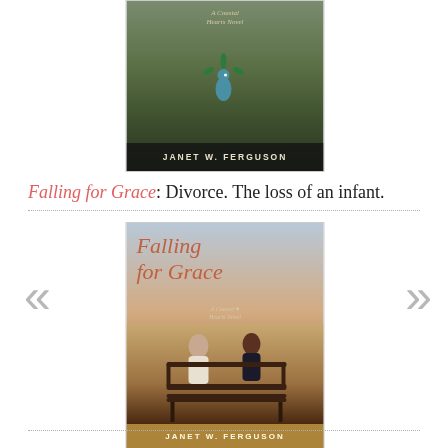[Figure (illustration): Book cover of a Coastal Hearts Novel by Janet W. Ferguson - top partial view showing greenery and peacock with author name at bottom]
Falling for Grace: Divorce. The loss of an infant.
[Figure (illustration): Book cover of Falling for Grace - A Coastal Hearts Novel by Janet W. Ferguson, showing two people sitting on a bench facing each other]